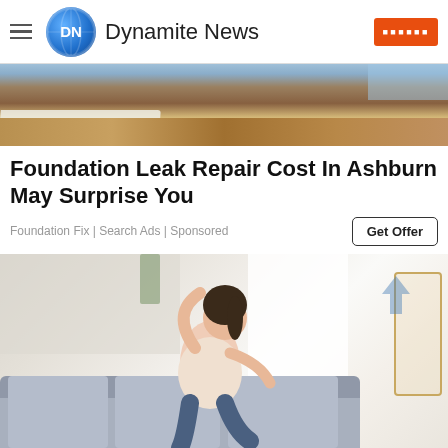Dynamite News
[Figure (photo): Construction site showing exposed foundation soil and excavation with plastic sheeting/tarp]
Foundation Leak Repair Cost In Ashburn May Surprise You
Foundation Fix | Search Ads | Sponsored
[Figure (photo): Woman relaxing on a grey sofa in a modern living room with plants and bright windows in the background]